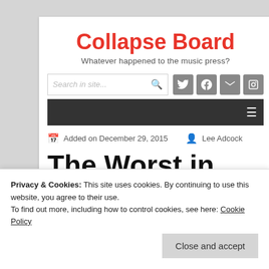Collapse Board
Whatever happened to the music press?
Added on December 29, 2015   Lee Adcock
The Worst in
Music of 2015
Privacy & Cookies: This site uses cookies. By continuing to use this website, you agree to their use.
To find out more, including how to control cookies, see here: Cookie Policy
Close and accept